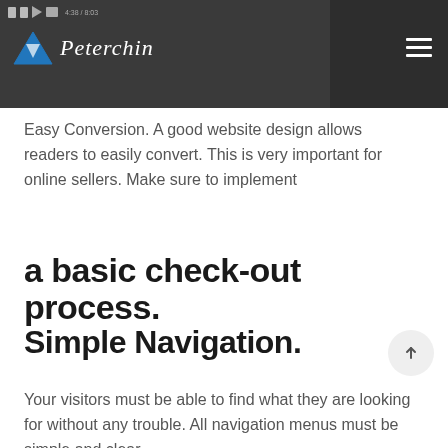[Figure (screenshot): Website header bar with dark background showing a video area on the left with playback controls, the Peterchin logo (blue triangle and script text) and a hamburger menu icon on the right.]
Easy Conversion. A good website design allows readers to easily convert. This is very important for online sellers. Make sure to implement
a basic check-out process.
Simple Navigation.
Your visitors must be able to find what they are looking for without any trouble. All navigation menus must be simple and clear.